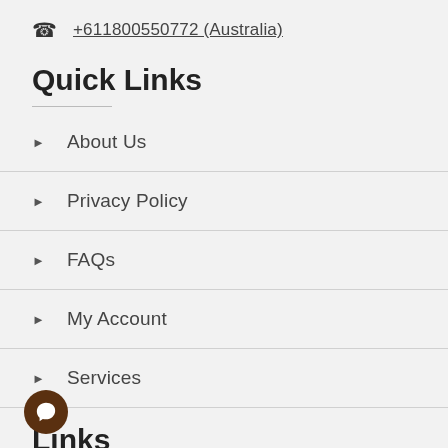+611800550772 (Australia)
Quick Links
About Us
Privacy Policy
FAQs
My Account
Services
Links